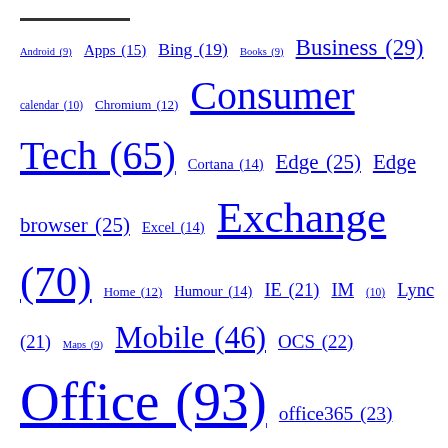Android (9) Apps (15) Bing (19) Books (9) Business (29) calendar (10) Chromium (12) Consumer Tech (65) Cortana (14) Edge (25) Edge browser (25) Excel (14) Exchange (70) Home (12) Humour (14) IE (21) IM (10) Lync (21) Maps (9) Mobile (46) OCS (22) Office (93) office365 (23) OneDrive (15) OneNote (36) Online (33) Outlook (144) PowerPoint (13) Productivity (100) Random Stuff (57) Search (9) Sharepoint (19) Store (12) Teams (37) Time (11) To-Do (10) Unified Comms (31) Vista (18) Win7 (13) Windows 7 (19) Windows 8 (39) Windows 8.1 (10)